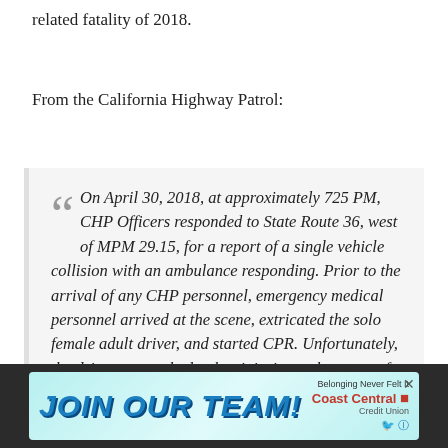related fatality of 2018.
From the California Highway Patrol:
On April 30, 2018, at approximately 725 PM, CHP Officers responded to State Route 36, west of MPM 29.15, for a report of a single vehicle collision with an ambulance responding. Prior to the arrival of any CHP personnel, emergency medical personnel arrived at the scene, extricated the solo female adult driver, and started CPR. Unfortunately, the driver succumbed to her injuries at the scene of the collision and was pronounced deceased by medical personnel
[Figure (infographic): Advertisement banner: JOIN OUR TEAM! Coast Central Credit Union with social media icons]